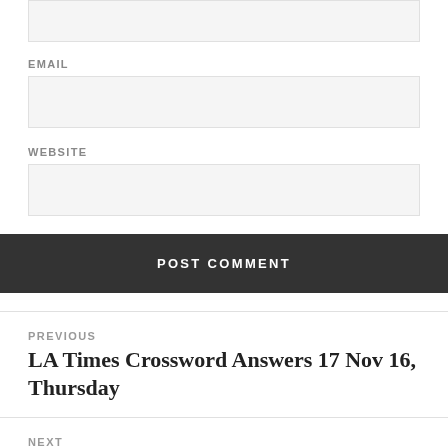EMAIL
WEBSITE
POST COMMENT
PREVIOUS
LA Times Crossword Answers 17 Nov 16, Thursday
NEXT
LA Times Crossword Answers 19 Nov 16, Saturday